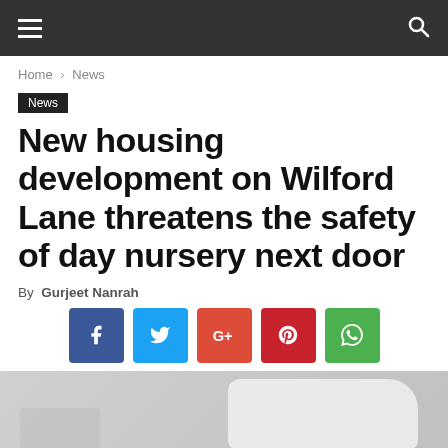Navigation bar with hamburger menu and search icon
Home › News
News
New housing development on Wilford Lane threatens the safety of day nursery next door
By Gurjeet Nanrah
[Figure (infographic): Social share buttons: Facebook, Twitter, Google+, Pinterest, WhatsApp]
[Figure (photo): Partial image of a vehicle, likely related to the news article]